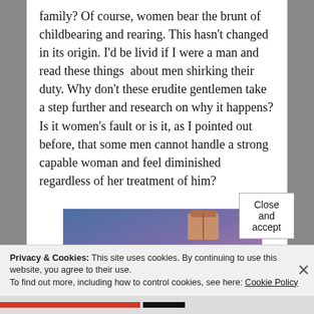family? Of course, women bear the brunt of childbearing and rearing. This hasn't changed in its origin. I'd be livid if I were a man and read these things  about men shirking their duty. Why don't these erudite gentlemen take a step further and research on why it happens? Is it women's fault or is it, as I pointed out before, that some men cannot handle a strong capable woman and feel diminished regardless of her treatment of him?
[Figure (screenshot): WordPress.com advertisement banner with blue-purple gradient background and WordPress logo]
Privacy & Cookies: This site uses cookies. By continuing to use this website, you agree to their use.
To find out more, including how to control cookies, see here: Cookie Policy
Close and accept